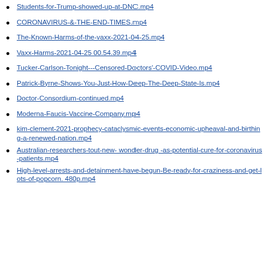Students-for-Trump-showed-up-at-DNC.mp4
CORONAVIRUS-&-THE-END-TIMES.mp4
The-Known-Harms-of-the-vaxx-2021-04-25.mp4
Vaxx-Harms-2021-04-25 00.54.39.mp4
Tucker-Carlson-Tonight---Censored-Doctors'-COVID-Video.mp4
Patrick-Byrne-Shows-You-Just-How-Deep-The-Deep-State-Is.mp4
Doctor-Consordium-continued.mp4
Moderna-Faucis-Vaccine-Company.mp4
kim-clement-2021-prophecy-cataclysmic-events-economic-upheaval-and-birthing-a-renewed-nation.mp4
Australian-researchers-tout-new- wonder-drug -as-potential-cure-for-coronavirus-patients.mp4
High-level-arrests-and-detainment-have-begun-Be-ready-for-craziness-and-get-lots-of-popcorn. 480p.mp4